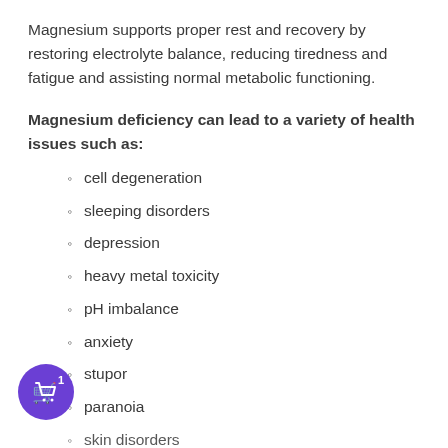Magnesium supports proper rest and recovery by restoring electrolyte balance, reducing tiredness and fatigue and assisting normal metabolic functioning.
Magnesium deficiency can lead to a variety of health issues such as:
cell degeneration
sleeping disorders
depression
heavy metal toxicity
pH imbalance
anxiety
stupor
paranoia
skin disorders